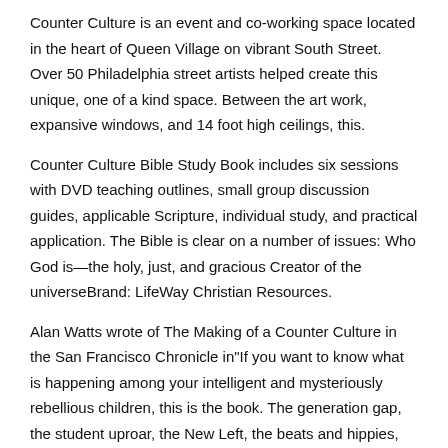Counter Culture is an event and co-working space located in the heart of Queen Village on vibrant South Street. Over 50 Philadelphia street artists helped create this unique, one of a kind space. Between the art work, expansive windows, and 14 foot high ceilings, this.
Counter Culture Bible Study Book includes six sessions with DVD teaching outlines, small group discussion guides, applicable Scripture, individual study, and practical application. The Bible is clear on a number of issues: Who God is—the holy, just, and gracious Creator of the universeBrand: LifeWay Christian Resources.
Alan Watts wrote of The Making of a Counter Culture in the San Francisco Chronicle in"If you want to know what is happening among your intelligent and mysteriously rebellious children, this is the book. The generation gap, the student uproar, the New Left, the beats and hippies, the psychedelic movement, rock music, the revival of.
Tuesday, March 19th,6 p.m. Eleanor Dunfey-Freiburger visits Gibson's Bookstore to present Counter Culture: Clams, Convents and a Circle